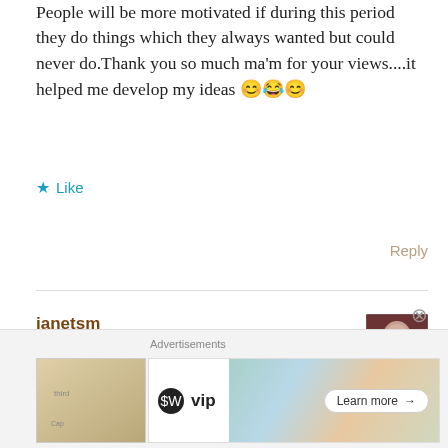People will be more motivated if during this period they do things which they always wanted but could never do.Thank you so much ma'm for your views....it helped me develop my ideas 😊😂😊
★ Like
Reply
janetsm
6th Apr 2020 at 7:42 pm
Thank you for finding and liking my blog. I look forward to following yours!
[Figure (infographic): Advertisements bar at bottom with WordPress VIP logo, social media card imagery, and a Learn more button]